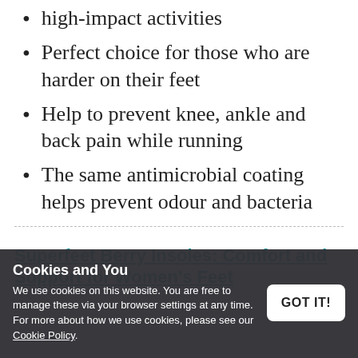high-impact activities
Perfect choice for those who are harder on their feet
Help to prevent knee, ankle and back pain while running
The same antimicrobial coating helps prevent odour and bacteria
Superfeet Berry Insoles: Comfort and Support for Women's Feet
Cookies and You
We use cookies on this website. You are free to manage these via your browser settings at any time. For more about how we use cookies, please see our Cookie Policy.